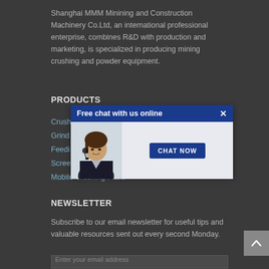Shanghai MMM Minining and Construction Machinery Co.Ltd, an international professional enterprise, combines R&D with production and marketing, is specialized in producing mining crushing and powder equipment.
PRODUCTS
Crush...
Grind...
Feedi...
Scree...
Mobile Crushing Plant
[Figure (screenshot): Chat popup overlay with blue header 'Free chat with us online', close button (X), photo of a customer service agent wearing a headset, and a 'CHAT NOW' button in dark blue]
NEWSLETTER
Subscribe to our email newsletter for useful tips and valuable resources sent out every second Monday.
Enter your email address